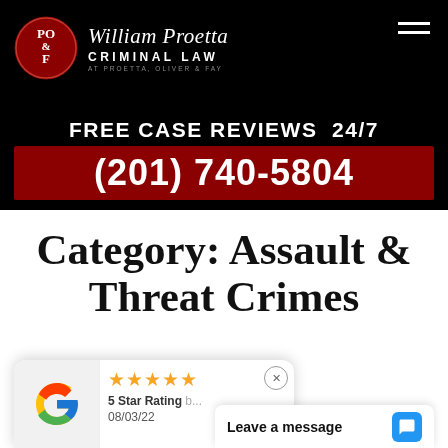[Figure (logo): William Proetta Criminal Law logo - red circular emblem with PO&F text, beside law firm name]
FREE CASE REVIEWS  24/7
(201) 740-5804
Category: Assault & Threat Crimes
[Figure (screenshot): Google review popup showing 5 star rating dated 08/03/22, with Leave a message chat bar]